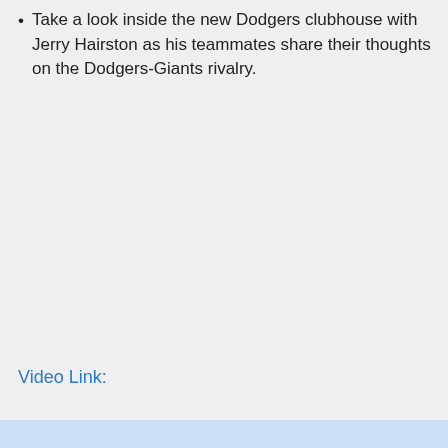Take a look inside the new Dodgers clubhouse with Jerry Hairston as his teammates share their thoughts on the Dodgers-Giants rivalry.
Video Link: